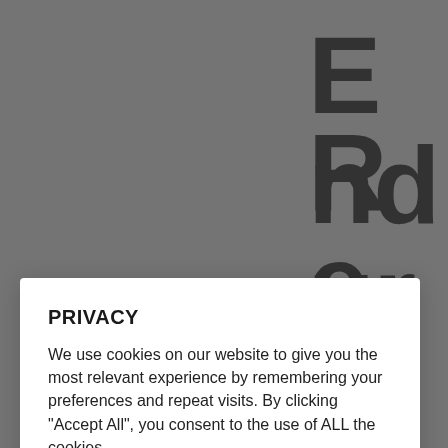[Figure (screenshot): Background showing partial website with large dark letters spelling 'E nd ur' vertically on right side and 'R e w' vertically on bottom right, with Endurance Zone Rewards logo at bottom left]
PRIVACY
We use cookies on our website to give you the most relevant experience by remembering your preferences and repeat visits. By clicking “Accept All”, you consent to the use of ALL the cookies.
Cookie Settings | Accept All | Our Policy